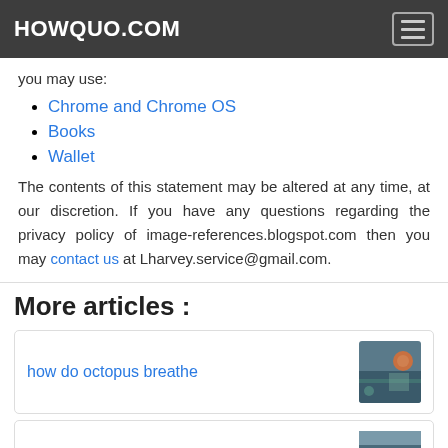HOWQUO.COM
you may use:
Chrome and Chrome OS
Books
Wallet
The contents of this statement may be altered at any time, at our discretion. If you have any questions regarding the privacy policy of image-references.blogspot.com then you may contact us at Lharvey.service@gmail.com.
More articles :
how do octopus breathe